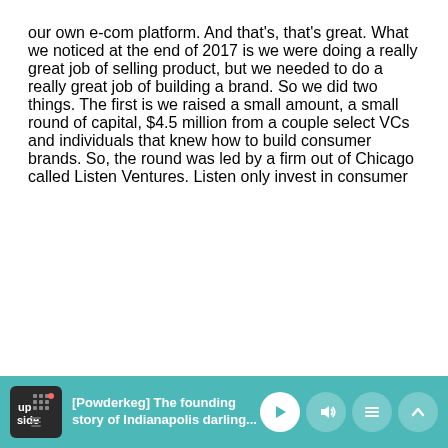our own e-com platform. And that's, that's great. What we noticed at the end of 2017 is we were doing a really great job of selling product, but we needed to do a really great job of building a brand. So we did two things. The first is we raised a small amount, a small round of capital, $4.5 million from a couple select VCs and individuals that knew how to build consumer brands. So, the round was led by a firm out of Chicago called Listen Ventures. Listen only invest in consumer
[Figure (screenshot): Podcast player bar at bottom showing 'up side' logo, title '[Powderkeg] The founding story of Indianapolis darling...' with play, volume, list, and expand controls on a teal background]